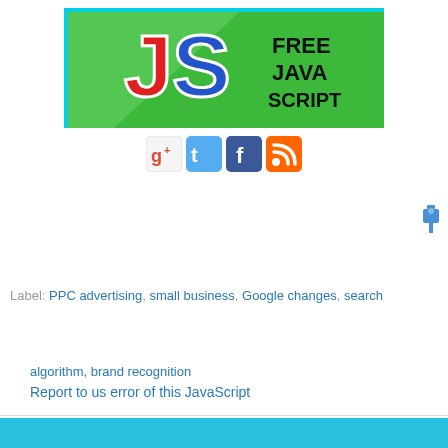[Figure (logo): Free JavaScript logo banner - green background with JS letters in red and blue, text 'FREE JAVA SCRIPT' in black]
[Figure (infographic): Row of social media icons: Google+, Twitter, Facebook, RSS feed]
[Figure (illustration): Blue pushpin/thumbtack icon on the right side]
Label: PPC advertising, small business, Google changes, search
algorithm, brand recognition
Report to us error of this JavaScript
Demo  Enlarge  Reload  New window
[Figure (screenshot): Bottom cyan/teal banner with red italic text partially visible]